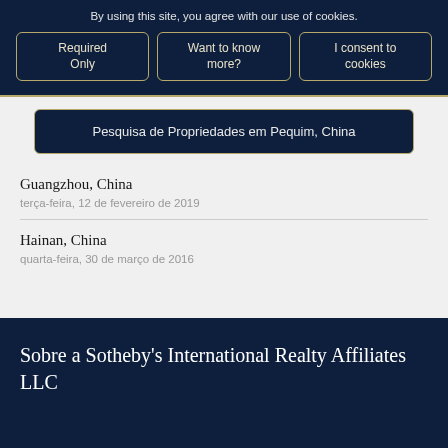By using this site, you agree with our use of cookies.
Required Only
Want to know more?
I consent to cookies
Pesquisa de Propriedades em Pequim, China
Guangzhou, China
terça-feira, 12 de fevereiro de 2019
Hainan, China
quarta-feira, 30 de março de 2016
Sobre a Sotheby's International Realty Affiliates LLC